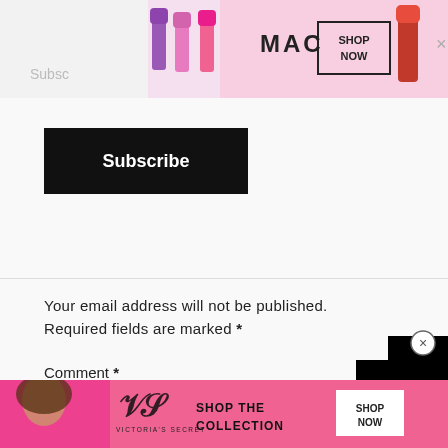[Figure (screenshot): MAC Cosmetics advertisement banner showing lipsticks in purple, pink, and red colors with MAC logo text and SHOP NOW button in a bordered box]
Subsc
[Figure (screenshot): Black Subscribe button]
Your email address will not be published. Required fields are marked *
Comment *
[Figure (screenshot): Black popup overlay with white smile/arc curve and X close button in circle, and CLOSE button]
[Figure (screenshot): Victoria's Secret advertisement banner showing woman model, VS logo, SHOP THE COLLECTION text and SHOP NOW button on pink background]